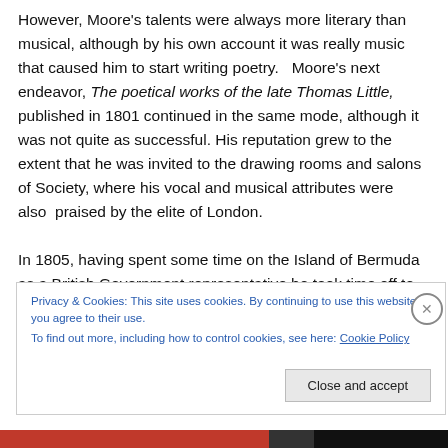However, Moore's talents were always more literary than musical, although by his own account it was really music that caused him to start writing poetry.   Moore's next endeavor, The poetical works of the late Thomas Little, published in 1801 continued in the same mode, although it was not quite as successful. His reputation grew to the extent that he was invited to the drawing rooms and salons of Society, where his vocal and musical attributes were also  praised by the elite of London.
In 1805, having spent some time on the Island of Bermuda as a British Government representative he took time off to
Privacy & Cookies: This site uses cookies. By continuing to use this website, you agree to their use.
To find out more, including how to control cookies, see here: Cookie Policy